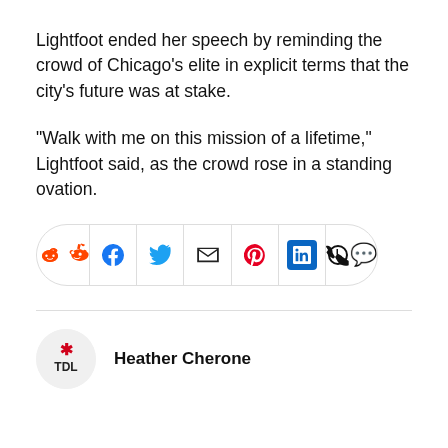Lightfoot ended her speech by reminding the crowd of Chicago's elite in explicit terms that the city's future was at stake.
“Walk with me on this mission of a lifetime,” Lightfoot said, as the crowd rose in a standing ovation.
[Figure (other): Social share buttons bar: Reddit, Facebook, Twitter, Email, Pinterest, LinkedIn, WhatsApp]
Heather Cherone